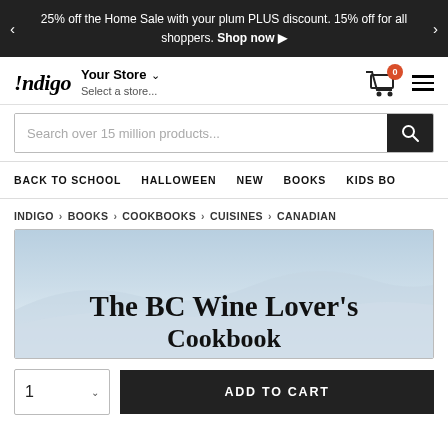25% off the Home Sale with your plum PLUS discount. 15% off for all shoppers. Shop now ▶
[Figure (logo): Indigo logo with store selector and cart icon]
Search over 15 million products...
BACK TO SCHOOL   HALLOWEEN   NEW   BOOKS   KIDS BO
INDIGO > BOOKS > COOKBOOKS > CUISINES > CANADIAN
[Figure (photo): The BC Wine Lover's Cookbook cover with sky/mountain background]
1  ADD TO CART